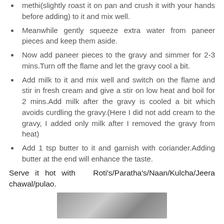methi(slightly roast it on pan and crush it with your hands before adding) to it and mix well.
Meanwhile gently squeeze extra water from paneer pieces and keep them aside.
Now add paneer pieces to the gravy and simmer for 2-3 mins.Turn off the flame and let the gravy cool a bit.
Add milk to it and mix well and switch on the flame and stir in fresh cream and give a stir on low heat and boil for 2 mins.Add milk after the gravy is cooled a bit which avoids curdling the gravy.(Here I did not add cream to the gravy, I added only milk after I removed the gravy from heat)
Add 1 tsp butter to it and garnish with coriander.Adding butter at the end will enhance the taste.
Serve it hot with Roti's/Paratha's/Naan/Kulcha/Jeera chawal/pulao.
[Figure (photo): A food photograph showing the prepared dish.]